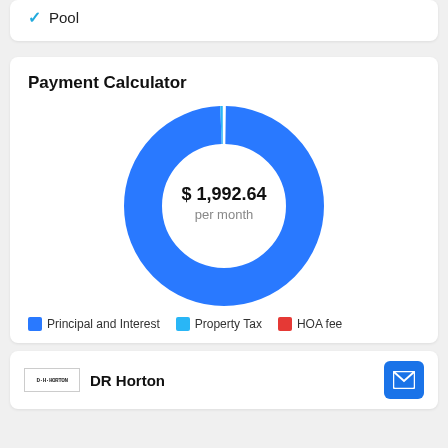Pool
Payment Calculator
[Figure (donut-chart): Payment Calculator]
Principal and Interest  Property Tax  HOA fee
DR Horton